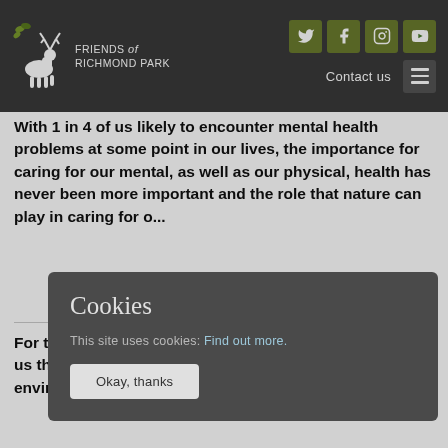Friends of Richmond Park — navigation header with logo, social icons (Twitter, Facebook, Instagram, YouTube), Contact us link, and hamburger menu
as providing a place for recreation, contemplation and relaxation.
With 1 in 4 of us likely to encounter mental health problems at some point in our lives, the importance for caring for our mental, as well as our physical, health has never been more important and the role that nature can play in caring for our wellbeing is increasingly recognised...
For the last... through a la... Engagement... (MENE), tells us the key motivation for people visiting the natural environment is for their health
Cookies
This site uses cookies: Find out more.
Okay, thanks